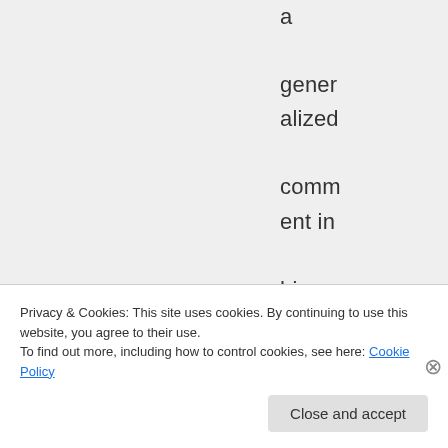a generalized comment in his History of the Negro R...
Privacy & Cookies: This site uses cookies. By continuing to use this website, you agree to their use.
To find out more, including how to control cookies, see here: Cookie Policy